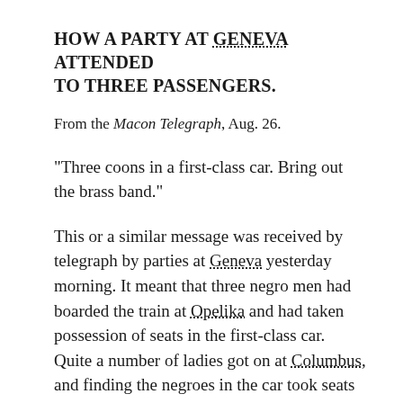HOW A PARTY AT GENEVA ATTENDED TO THREE PASSENGERS.
From the Macon Telegraph, Aug. 26.
"Three coons in a first-class car. Bring out the brass band."
This or a similar message was received by telegraph by parties at Geneva yesterday morning. It meant that three negro men had boarded the train at Opelika and had taken possession of seats in the first-class car. Quite a number of ladies got on at Columbus, and finding the negroes in the car took seats together at one end, leaving as much room to the off-color trio as possible.